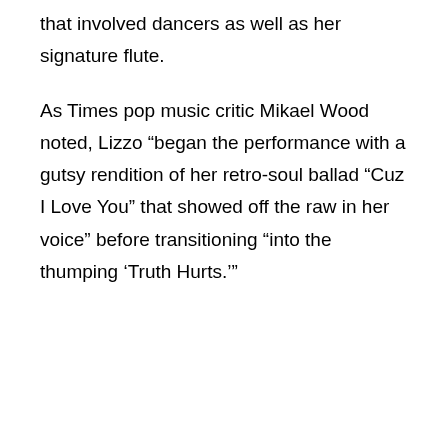that involved dancers as well as her signature flute.
As Times pop music critic Mikael Wood noted, Lizzo “began the performance with a gutsy rendition of her retro-soul ballad “Cuz I Love You” that showed off the raw in her voice” before transitioning “into the thumping ‘Truth Hurts.’”